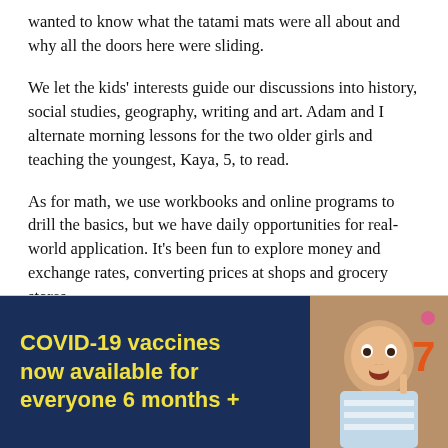wanted to know what the tatami mats were all about and why all the doors here were sliding.
We let the kids' interests guide our discussions into history, social studies, geography, writing and art. Adam and I alternate morning lessons for the two older girls and teaching the youngest, Kaya, 5, to read.
As for math, we use workbooks and online programs to drill the basics, but we have daily opportunities for real-world application. It's been fun to explore money and exchange rates, converting prices at shops and grocery stores.
[Figure (infographic): Advertisement banner with dark navy blue left panel containing bold yellow text 'COVID-19 vaccines now available for everyone 6 months +' and right panel showing a young boy with an excited expression and a large orange number 7 visible.]